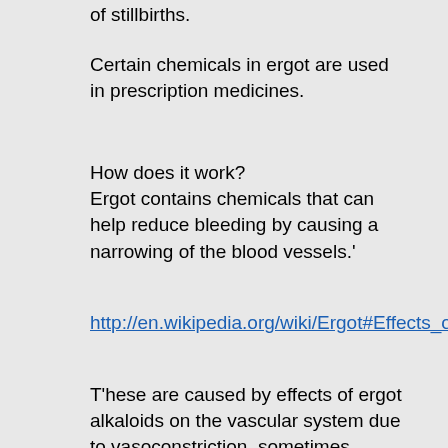of stillbirths.
Certain chemicals in ergot are used in prescription medicines.
How does it work?
Ergot contains chemicals that can help reduce bleeding by causing a narrowing of the blood vessels.'
http://en.wikipedia.org/wiki/Ergot#Effects_on_humans_and_other_mammals
T'hese are caused by effects of ergot alkaloids on the vascular system due to vasoconstriction, sometimes leading to gangrene and loss of limbs due to severely restricted blood circulation.Midwives and